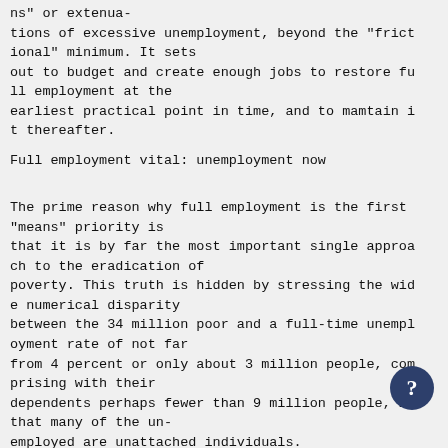ns" or extenua-
tions of excessive unemployment, beyond the "frictional" minimum. It sets
out to budget and create enough jobs to restore full employment at the
earliest practical point in time, and to mamtain it thereafter.
Full employment vital: unemployment now
The prime reason why full employment is the first
"means" priority is
that it is by far the most important single approach to the eradication of
poverty. This truth is hidden by stressing the wide numerical disparity
between the 34 million poor and a full-time unemployment rate of not far
from 4 percent or only about 3 million people, comprising with their
dependents perhaps fewer than 9 million people, in that many of the un-
employed are unattached individuals.
In the first of the following paragraphs...